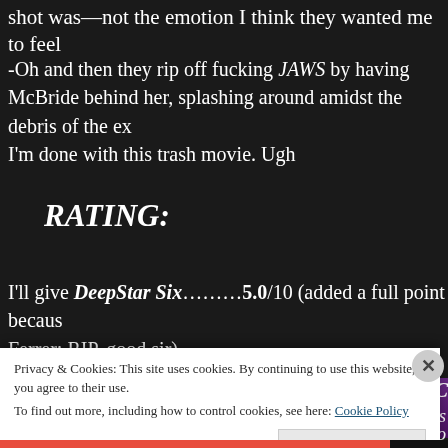shot was—not the emotion I think they wanted me to feel
-Oh and then they rip off fucking JAWS by having McBride behind her, splashing around amidst the debris of the ex I'm done with this trash movie. Ugh
RATING:
I'll give DeepStar Six.........5.0/10 (added a full point because Ferrer; RIP, good sir)
[Figure (screenshot): Partial view of a movie scene image with pink/purple tones, partially covered by cookie banner]
PATRIC
Privacy & Cookies: This site uses cookies. By continuing to use this website, you agree to their use.
To find out more, including how to control cookies, see here: Cookie Policy
Close and accept